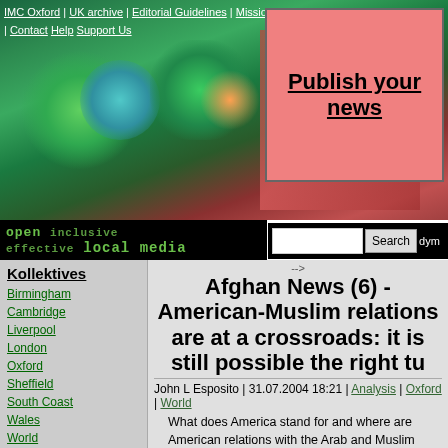IMC Oxford | UK archive | Editorial Guidelines | Mission Statement | About | Contact | Help | Support Us
[Figure (photo): Colorful graffiti mural header image for IMC Oxford website]
Publish your news
open inclusive effective local media
Kollektives
Birmingham
Cambridge
Liverpool
London
Oxford
Sheffield
South Coast
Wales
World
Other UK IMCs
Bristol/South West
London
Northern Indymedia
Scotland
Oxford Topics
Afghan News (6) - American-Muslim relations are at a crossroads: it is still possible the right tu
John L Esposito | 31.07.2004 18:21 | Analysis | Oxford | World
What does America stand for and where are American relations with the Arab and Muslim world going? The 28 June "transfer" of power in Iraq marks a turning point for the Bush administration and American politics. The American presidential race will intensify the debate, raising even